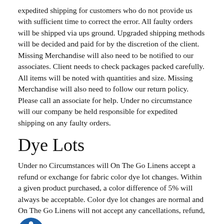expedited shipping for customers who do not provide us with sufficient time to correct the error. All faulty orders will be shipped via ups ground. Upgraded shipping methods will be decided and paid for by the discretion of the client. Missing Merchandise will also need to be notified to our associates. Client needs to check packages packed carefully. All items will be noted with quantities and size. Missing Merchandise will also need to follow our return policy. Please call an associate for help. Under no circumstance will our company be held responsible for expedited shipping on any faulty orders.
Dye Lots
Under no Circumstances will On The Go Linens accept a refund or exchange for fabric color dye lot changes. Within a given product purchased, a color difference of 5% will always be acceptable. Color dye lot changes are normal and On The Go Linens will not accept any cancellations, refund, changes due to the nature of the fabric color difference. Please make your product and color selections carefully as we will not be able to return or exchange